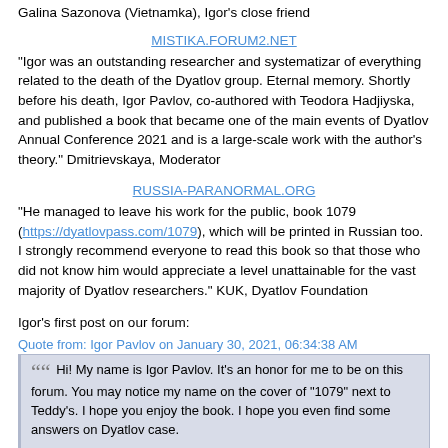Galina Sazonova (Vietnamka), Igor's close friend
MISTIKA.FORUM2.NET
"Igor was an outstanding researcher and systematizar of everything related to the death of the Dyatlov group. Eternal memory. Shortly before his death, Igor Pavlov, co-authored with Teodora Hadjiyska, and published a book that became one of the main events of Dyatlov Annual Conference 2021 and is a large-scale work with the author's theory." Dmitrievskaya, Moderator
RUSSIA-PARANORMAL.ORG
"He managed to leave his work for the public, book 1079 (https://dyatlovpass.com/1079), which will be printed in Russian too. I strongly recommend everyone to read this book so that those who did not know him would appreciate a level unattainable for the vast majority of Dyatlov researchers." KUK, Dyatlov Foundation
Igor's first post on our forum:
Quote from: Igor Pavlov on January 30, 2021, 06:34:38 AM
Hi! My name is Igor Pavlov. It's an honor for me to be on this forum. You may notice my name on the cover of "1079" next to Teddy's. I hope you enjoy the book. I hope you even find some answers on Dyatlov case.
Igor's last post:
Quote from: Igor Pavlov on June 10, 2021, 11:27:03 AM